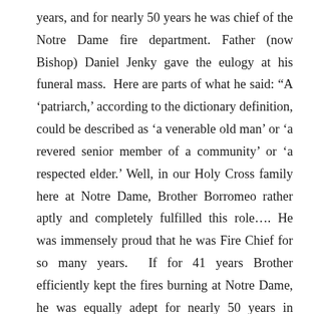years, and for nearly 50 years he was chief of the Notre Dame fire department. Father (now Bishop) Daniel Jenky gave the eulogy at his funeral mass.  Here are parts of what he said: “A ‘patriarch,’ according to the dictionary definition, could be described as ‘a venerable old man’ or ‘a revered senior member of a community’ or ‘a respected elder.’ Well, in our Holy Cross family here at Notre Dame, Brother Borromeo rather aptly and completely fulfilled this role…. He was immensely proud that he was Fire Chief for so many years.  If for 41 years Brother efficiently kept the fires burning at Notre Dame, he was equally adept for nearly 50 years in putting them out anywhere else on campus. He was given his job in 1939, and by 1940 he had built, from the chassis up, Notre Dame’s first completely motorized